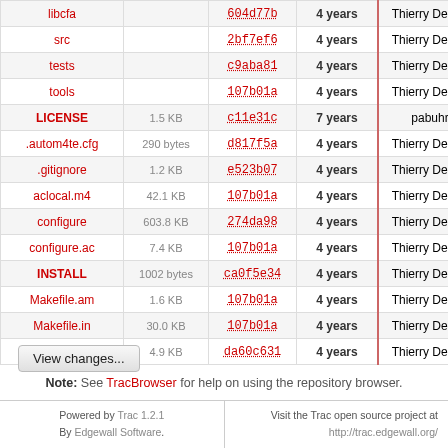| Name | Size | Rev | Age | Author | Last Change |
| --- | --- | --- | --- | --- | --- |
| libcfa |  | 604d77b | 4 years | Thierry Delisle | Fixed |
| src |  | 2bf7ef6 | 4 years | Thierry Delisle | Small |
| tests |  | c9aba81 | 4 years | Thierry Delisle | Fix ba |
| tools |  | 107b01a | 4 years | Thierry Delisle | Sever |
| LICENSE | 1.5 KB | c11e31c | 7 years | pabuhr | add i |
| .autom4te.cfg | 290 bytes | d817f5a | 4 years | Thierry Delisle | Added |
| .gitignore | 1.2 KB | e523b07 | 4 years | Thierry Delisle | Imple |
| aclocal.m4 | 42.1 KB | 107b01a | 4 years | Thierry Delisle | Sever |
| configure | 603.8 KB | 274da98 | 4 years | Thierry Delisle | added |
| configure.ac | 7.4 KB | 107b01a | 4 years | Thierry Delisle | Sever |
| INSTALL | 1002 bytes | ca0f5e34 | 4 years | Thierry Delisle | Updat |
| Makefile.am | 1.6 KB | 107b01a | 4 years | Thierry Delisle | Sever |
| Makefile.in | 30.0 KB | 107b01a | 4 years | Thierry Delisle | Sever |
| README | 4.9 KB | da60c631 | 4 years | Thierry Delisle | Fixed |
View changes...
Note: See TracBrowser for help on using the repository browser.
Powered by Trac 1.2.1 By Edgewall Software. | Visit the Trac open source project at http://trac.edgewall.org/